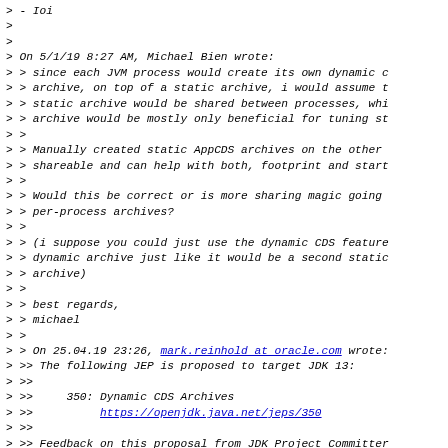> - Ioi
>
>
> On 5/1/19 8:27 AM, Michael Bien wrote:
> > since each JVM process would create its own dynamic c
> > archive, on top of a static archive, i would assume t
> > static archive would be shared between processes, whi
> > archive would be mostly only beneficial for tuning st
> >
> > Manually created static AppCDS archives on the other
> > shareable and can help with both, footprint and start
> >
> > Would this be correct or is more sharing magic going
> > per-process archives?
> >
> > (i suppose you could just use the dynamic CDS feature
> > dynamic archive just like it would be a second static
> > archive)
> >
> > best regards,
> > michael
> >
> > On 25.04.19 23:26, mark.reinhold at oracle.com wrote:
> >> The following JEP is proposed to target JDK 13:
> >>
> >>     350: Dynamic CDS Archives
> >>          https://openjdk.java.net/jeps/350
> >>
> >> Feedback on this proposal from JDK Project Committer
> >> is more than welcome, as are reasoned objections.